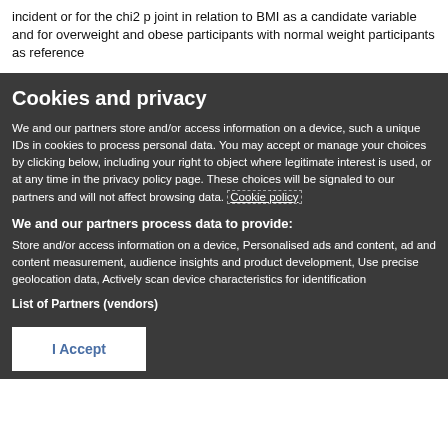incident or for the chi2 p joint in relation to BMI as a candidate variable and for overweight and obese participants with normal weight participants as reference
Cookies and privacy
We and our partners store and/or access information on a device, such a unique IDs in cookies to process personal data. You may accept or manage your choices by clicking below, including your right to object where legitimate interest is used, or at any time in the privacy policy page. These choices will be signaled to our partners and will not affect browsing data. Cookie policy
We and our partners process data to provide:
Store and/or access information on a device, Personalised ads and content, ad and content measurement, audience insights and product development, Use precise geolocation data, Actively scan device characteristics for identification
List of Partners (vendors)
I Accept